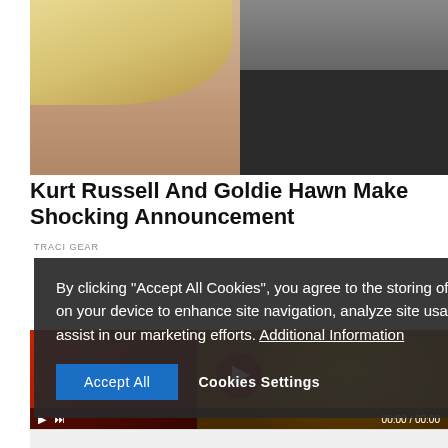[Figure (photo): Cropped photo of a blonde woman (Goldie Hawn) and a grey-haired man (Kurt Russell) facing each other, close-up portrait style.]
Kurt Russell And Goldie Hawn Make Shocking Announcement
TRACI GEAR
By clicking "Accept All Cookies", you agree to the storing of cookies on your device to enhance site navigation, analyze site usage, and assist in our marketing efforts. Additional Information
Accept All
Cookies Settings
[Figure (screenshot): Video thumbnail showing a red and gold Mercedes car interior with ornate gold-colored steering wheel. Video player controls visible at bottom: play button, skip button, and timecode 00:00 / 00:00.]